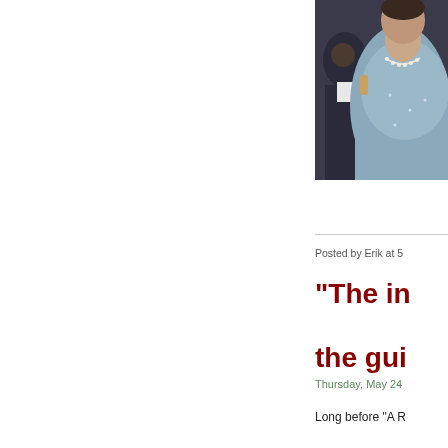[Figure (photo): Close-up photo of a woman in a pale blue/grey top with a pearl necklace, partially cropped, with other people visible in background]
Posted by Erik at 5
"The ir

the gui
Thursday, May 24
Long before "A R